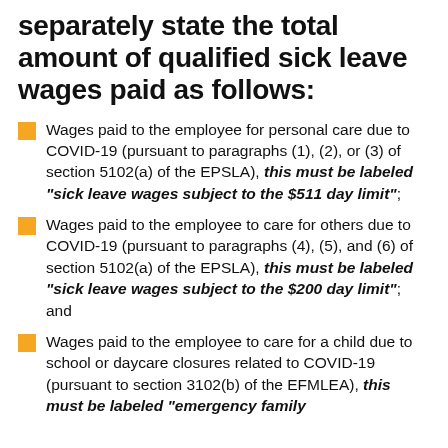separately state the total amount of qualified sick leave wages paid as follows:
Wages paid to the employee for personal care due to COVID-19 (pursuant to paragraphs (1), (2), or (3) of section 5102(a) of the EPSLA), this must be labeled “sick leave wages subject to the $511 day limit”;
Wages paid to the employee to care for others due to COVID-19 (pursuant to paragraphs (4), (5), and (6) of section 5102(a) of the EPSLA), this must be labeled “sick leave wages subject to the $200 day limit”; and
Wages paid to the employee to care for a child due to school or daycare closures related to COVID-19 (pursuant to section 3102(b) of the EFMLEA), this must be labeled “emergency family